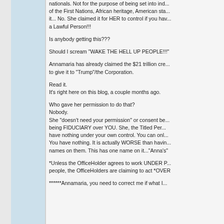nationals. Not for the purpose of being set into ind... of the First Nations, African heritage, American sta... it... No. She claimed it for HER to control if you hav... a Lawful Person!!!
Is anybody getting this???
Should I scream "WAKE THE HELL UP PEOPLE!!!"
Annamaria has already claimed the $21 trillion cre... to give it to "Trump"/the Corporation.
Read it.
It's right here on this blog, a couple months ago.
Who gave her permission to do that?
Nobody.
She "doesn't need your permission" or consent be... being FIDUCIARY over YOU. She, the Titled Per... have nothing under your own control. You can onl... You have nothing. It is actually WORSE than havin... names on them. This has one name on it..."Anna's"
*Unless the OfficeHolder agrees to work UNDER P... people, the OfficeHolders are claiming to act *OVER
******Annamaria, you need to correct me if what I...